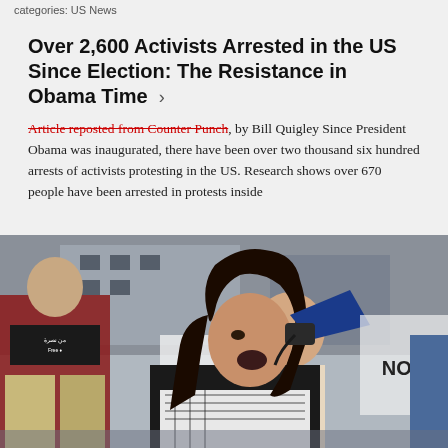categories: US News
Over 2,600 Activists Arrested in the US Since Election: The Resistance in Obama Time ›
Article reposted from Counter Punch, by Bill Quigley Since President Obama was inaugurated, there have been over two thousand six hundred arrests of activists protesting in the US. Research shows over 670 people have been arrested in protests inside
[Figure (photo): Protest scene: a young woman with long dark hair shouts into a megaphone, wearing a keffiyeh scarf. Behind her, protesters hold signs and a man in a black t-shirt is visible.]